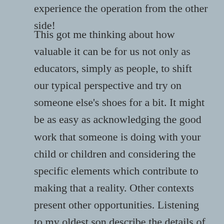experience the operation from the other side!
This got me thinking about how valuable it can be for us not only as educators, simply as people, to shift our typical perspective and try on someone else's shoes for a bit. It might be as easy as acknowledging the good work that someone is doing with your child or children and considering the specific elements which contribute to making that a reality. Other contexts present other opportunities. Listening to my oldest son describe the details of his creative process in putting together a well edited video of his last big drum and bass set and feeling his disappointment when the rendering got stuck some 20 hours in helped me think about the challenges of making art and